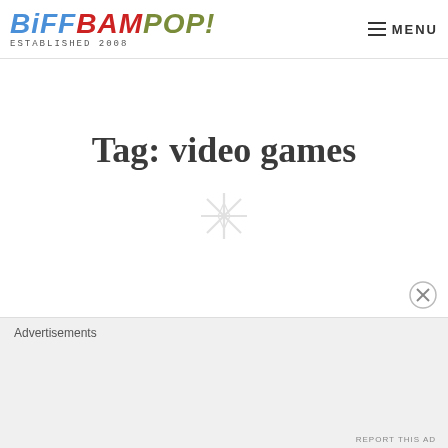BIFFBAMPOP! ESTABLISHED 2008 | MENU
Tag: video games
[Figure (illustration): Decorative sparkle/asterisk icon in light gray]
Advertisements
REPORT THIS AD